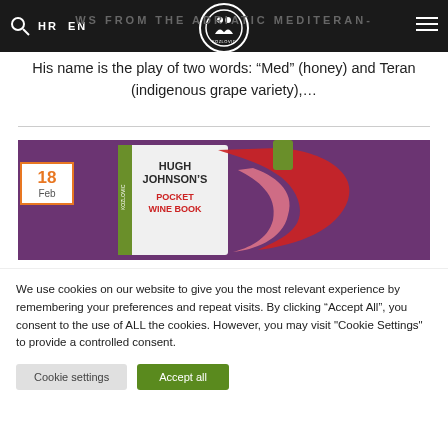WS FROM THE ADRIATIC MEDITERAN-
His name is the play of two words: “Med” (honey) and Teran (indigenous grape variety),…
[Figure (photo): Cover of Hugh Johnson's Pocket Wine Book, showing the title on a white book cover with a stylized red and pink wine pour graphic, against a purple background. A date badge showing 18 Feb is overlaid on the lower left of the image.]
We use cookies on our website to give you the most relevant experience by remembering your preferences and repeat visits. By clicking “Accept All”, you consent to the use of ALL the cookies. However, you may visit "Cookie Settings" to provide a controlled consent.